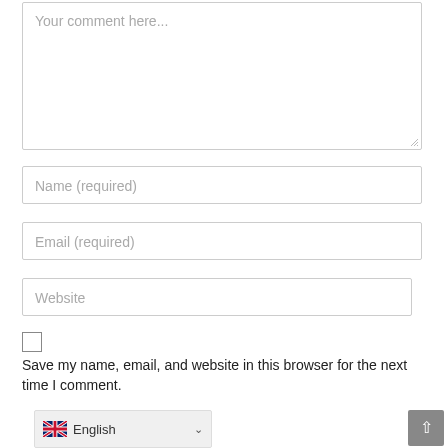[Figure (screenshot): Textarea input field with placeholder text 'Your comment here...' and a resize handle in the bottom-right corner]
[Figure (screenshot): Text input field with placeholder text 'Name (required)']
[Figure (screenshot): Text input field with placeholder text 'Email (required)']
[Figure (screenshot): Text input field with placeholder text 'Website']
Save my name, email, and website in this browser for the next time I comment.
[Figure (screenshot): Language selector dropdown showing English with UK flag and chevron, and a scroll-to-top button on the right]